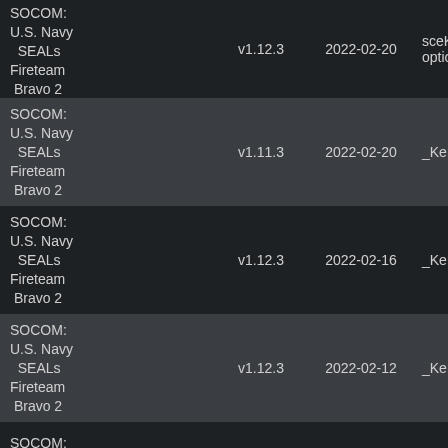| Game | Version | Date | Info |
| --- | --- | --- | --- |
| SOCOM: U.S. Navy SEALs Fireteam Bravo 2 | v1.12.3 | 2022-02-20 | sceKernel options pa... |
| SOCOM: U.S. Navy SEALs Fireteam Bravo 2 | v1.11.3 | 2022-02-20 | _KernelSt... |
| SOCOM: U.S. Navy SEALs Fireteam Bravo 2 | v1.12.3 | 2022-02-16 | _KernelSt... |
| SOCOM: U.S. Navy SEALs Fireteam Bravo 2 | v1.12.3 | 2022-02-12 | _KernelSt... |
| SOCOM: U.S. Navy... |  |  |  |